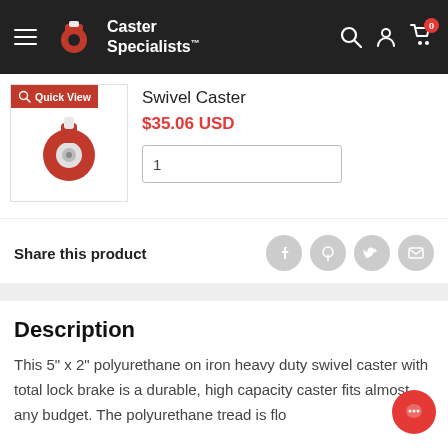Caster Specialists — Navigation bar with hamburger menu, logo, search, account, and cart (0 items)
[Figure (photo): Product thumbnail of a swivel caster wheel (red and chrome) with a Quick View button overlay]
Swivel Caster
$35.06 USD
1 (quantity input)
Share this product
Description
This 5" x 2" polyurethane on iron heavy duty swivel caster with total lock brake is a durable, high capacity caster fits almost any budget. The polyurethane tread is flo...